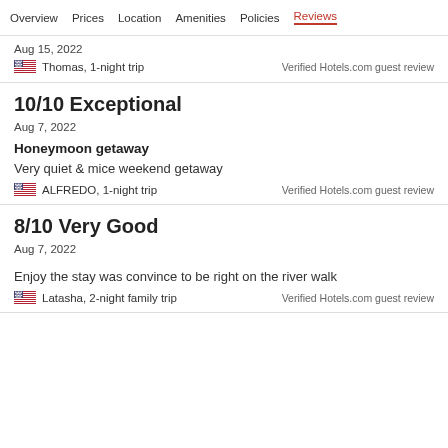Overview  Prices  Location  Amenities  Policies  Reviews
Aug 15, 2022
Thomas, 1-night trip   Verified Hotels.com guest review
10/10 Exceptional
Aug 7, 2022
Honeymoon getaway
Very quiet & mice weekend getaway
ALFREDO, 1-night trip   Verified Hotels.com guest review
8/10 Very Good
Aug 7, 2022
Enjoy the stay was convince to be right on the river walk
Latasha, 2-night family trip   Verified Hotels.com guest review